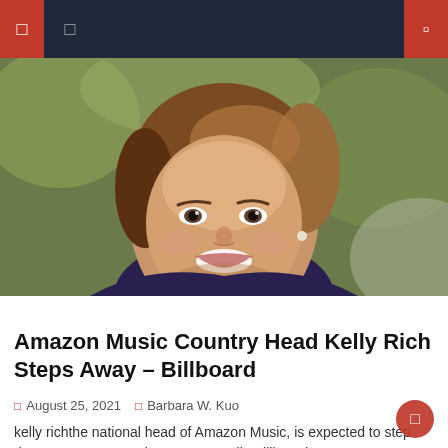Navigation bar with menu and search icons
[Figure (photo): Headshot of a smiling woman with short brown hair, wearing a dark top, photographed outdoors with a blurred green background.]
Amazon Music
Amazon Music Country Head Kelly Rich Steps Away – Billboard
August 25, 2021   Barbara W. Kuo
kelly richthe national head of Amazon Music, is expected to step down on August 30. the company tells Billboard. "I